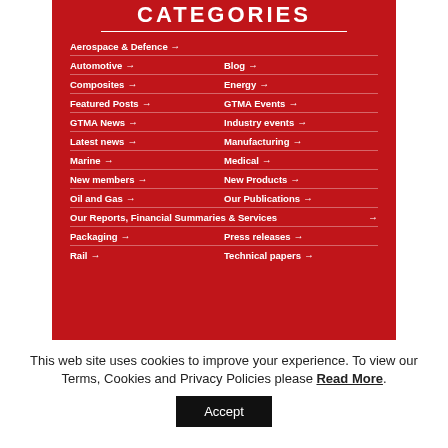CATEGORIES
Aerospace & Defence →
Automotive → Blog →
Composites → Energy →
Featured Posts → GTMA Events →
GTMA News → Industry events →
Latest news → Manufacturing →
Marine → Medical →
New members → New Products →
Oil and Gas → Our Publications →
Our Reports, Financial Summaries & Services →
Packaging → Press releases →
Rail → Technical papers →
This web site uses cookies to improve your experience. To view our Terms, Cookies and Privacy Policies please Read More.
Accept